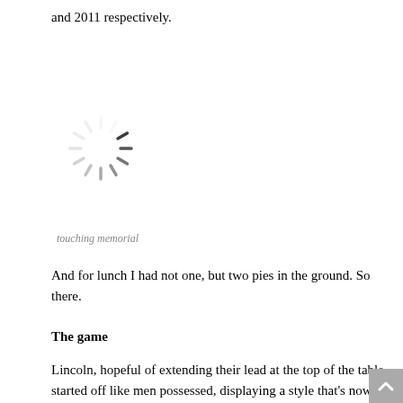and 2011 respectively.
[Figure (other): A spinning loading indicator (spinner/throbber) — circular arrangement of short radial lines in grey, indicating a loading state.]
touching memorial
And for lunch I had not one, but two pies in the ground. So there.
The game
Lincoln, hopeful of extending their lead at the top of the table, started off like men possessed, displaying a style that's now